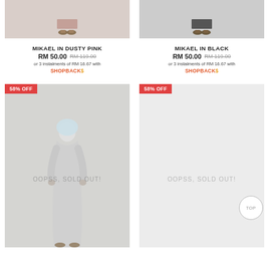[Figure (photo): Product photo top portion of Mikael in Dusty Pink — lower body/feet visible]
[Figure (photo): Product photo top portion of Mikael in Black — lower body/feet visible]
MIKAEL IN DUSTY PINK
RM 50.00  RM 119.00
or 3 instalments of RM 16.67 with SHOPBACK$
MIKAEL IN BLACK
RM 50.00  RM 119.00
or 3 instalments of RM 16.67 with SHOPBACK$
[Figure (photo): Product photo of Mikael in grey/light robe full length — OOPSS, SOLD OUT! overlay]
[Figure (photo): Product placeholder right column — OOPSS, SOLD OUT! overlay, mostly blank]